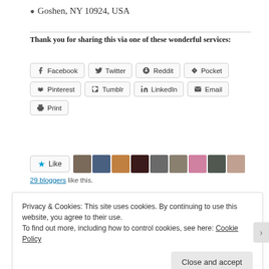📍 Goshen, NY 10924, USA
Thank you for sharing this via one of these wonderful services:
Facebook
Twitter
Reddit
Pocket
Pinterest
Tumblr
LinkedIn
Email
Print
Like  29 bloggers like this.
Privacy & Cookies: This site uses cookies. By continuing to use this website, you agree to their use.
To find out more, including how to control cookies, see here: Cookie Policy
Close and accept